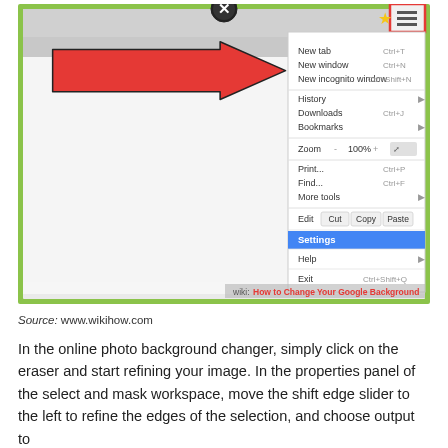[Figure (screenshot): Screenshot of Chrome browser with menu open and a large red arrow pointing to the 'Settings' option which is highlighted in blue. The menu shows: New tab, New window, New incognito window, History, Downloads, Bookmarks, Zoom, Print, Find, More tools, Edit/Cut/Copy/Paste, Settings (highlighted), Help, Exit. A red X icon appears at the top center and a red-bordered hamburger menu icon at top right. The image has a green border and a wikihow watermark at the bottom.]
Source: www.wikihow.com
In the online photo background changer, simply click on the eraser and start refining your image. In the properties panel of the select and mask workspace, move the shift edge slider to the left to refine the edges of the selection, and choose output to